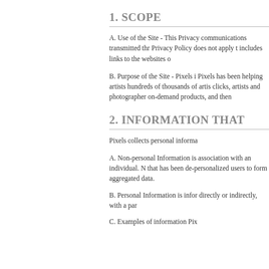1. SCOPE
A. Use of the Site - This Privacy communications transmitted th Privacy Policy does not apply t includes links to the websites o
B. Purpose of the Site - Pixels i Pixels has been helping artists hundreds of thousands of artis clicks, artists and photographer on-demand products, and then
2. INFORMATION THAT
Pixels collects personal informa
A. Non-personal Information is association with an individual. N that has been de-personalized users to form aggregated data.
B. Personal Information is infor directly or indirectly, with a par
C. Examples of information Pix